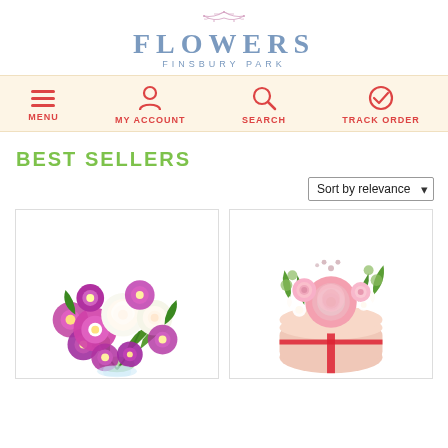[Figure (logo): Flowers Finsbury Park logo with decorative branch above text]
[Figure (infographic): Navigation bar with Menu, My Account, Search, and Track Order icons on cream background]
BEST SELLERS
Sort by relevance
[Figure (photo): Pink and purple mixed flower bouquet with white roses and gerberas in glass vase]
[Figure (photo): Pink roses and white flowers arranged in a round pink gift box with red ribbon]